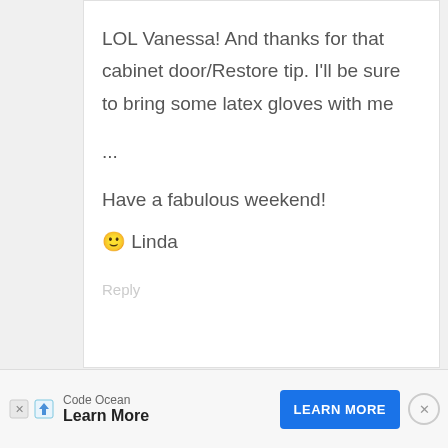LOL Vanessa! And thanks for that cabinet door/Restore tip. I'll be sure to bring some latex gloves with me ...

Have a fabulous weekend!

🙂 Linda
Reply
[Figure (logo): Becca avatar logo — blue/navy geometric diamond/arrow shape]
BECCA SAYS
Code Ocean
Learn More
LEARN MORE